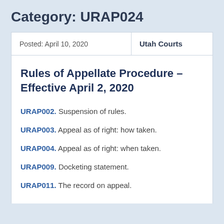Category: URAP024
| Posted | Source |
| --- | --- |
| Posted: April 10, 2020 | Utah Courts |
Rules of Appellate Procedure – Effective April 2, 2020
URAP002. Suspension of rules.
URAP003. Appeal as of right: how taken.
URAP004. Appeal as of right: when taken.
URAP009. Docketing statement.
URAP011. The record on appeal.